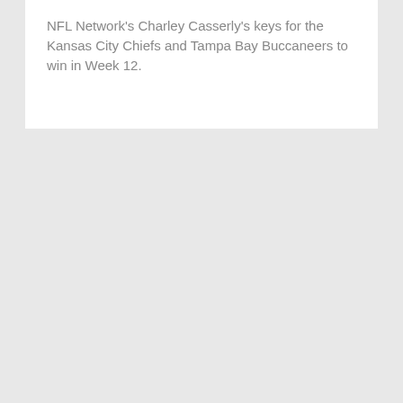NFL Network's Charley Casserly's keys for the Kansas City Chiefs and Tampa Bay Buccaneers to win in Week 12.